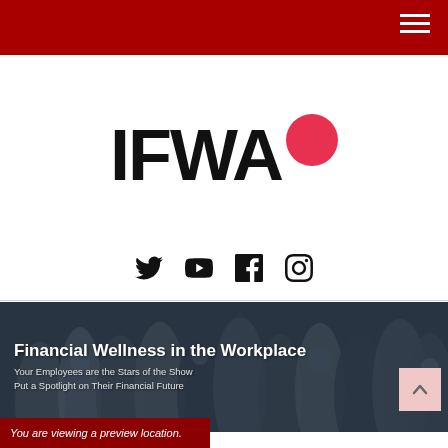IFWA navigation bar
[Figure (logo): IFWA logo with large bold black text 'IFWA' and a red circle dot to the upper right]
[Figure (infographic): Social media icons row: Twitter bird, YouTube play button, Facebook f, Instagram camera]
[Figure (photo): Hero banner showing group of happy employees in a workplace setting with dark overlay. Text overlay reads: 'Financial Wellness in the Workplace' and 'Your Employees are the Stars of the Show / Put a Spotlight on Their Financial Future']
You are viewing a preview location.